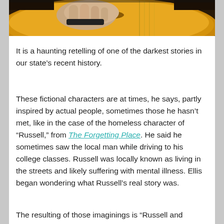[Figure (photo): Close-up photo of hands playing an acoustic guitar, showing the guitar body and a bracelet on the wrist.]
It is a haunting retelling of one of the darkest stories in our state’s recent history.
These fictional characters are at times, he says, partly inspired by actual people, sometimes those he hasn’t met, like in the case of the homeless character of “Russell,” from The Forgetting Place. He said he sometimes saw the local man while driving to his college classes. Russell was locally known as living in the streets and likely suffering with mental illness. Ellis began wondering what Russell’s real story was.
The resulting of those imaginings is “Russell and